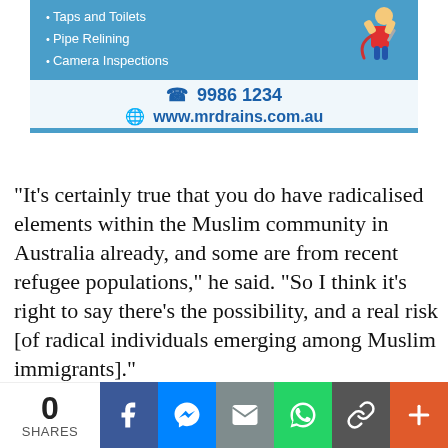[Figure (other): Advertisement banner for mrdrains.com.au plumbing service showing blue box with bullet list (Taps and Toilets, Pipe Relining, Camera Inspections), phone number 9986 1234, website www.mrdrains.com.au, and a cartoon plumber mascot.]
“It’s certainly true that you do have radicalised elements within the Muslim community in Australia already, and some are from recent refugee populations,” he said. “So I think it’s right to say there’s the possibility, and a real risk [of radical individuals emerging among Muslim immigrants].”
“But Sonja Kruger and Pauline Hanson are just overblowing the risk to ridiculous proportions that misrepresent the reality of just how dangerous
[Figure (other): Social sharing bar at bottom of page showing 0 SHARES count, and buttons for Facebook, Messenger, Email, WhatsApp, Link/copy, and More (+).]